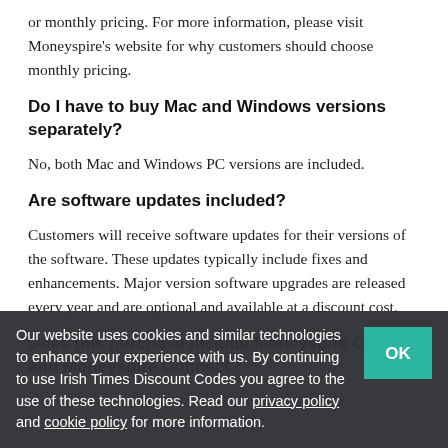or monthly pricing. For more information, please visit Moneyspire's website for why customers should choose monthly pricing.
Do I have to buy Mac and Windows versions separately?
No, both Mac and Windows PC versions are included.
Are software updates included?
Customers will receive software updates for their versions of the software. These updates typically include fixes and enhancements. Major version software upgrades are released every year and are optional and available at a discount cost.
Does this purchase include Moneyspire Cloud and Moneyspire Connect?
Yes, customers will receive both 1 year of the
Our website uses cookies and similar technologies to enhance your experience with us. By continuing to use Irish Times Discount Codes you agree to the use of these technologies. Read our privacy policy and cookie policy for more information.